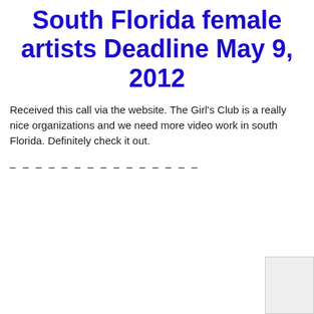South Florida female artists Deadline May 9, 2012
Received this call via the website. The Girl's Club is a really nice organizations and we need more video work in south Florida. Definitely check it out.
– – – – – – – – – – – – – – –